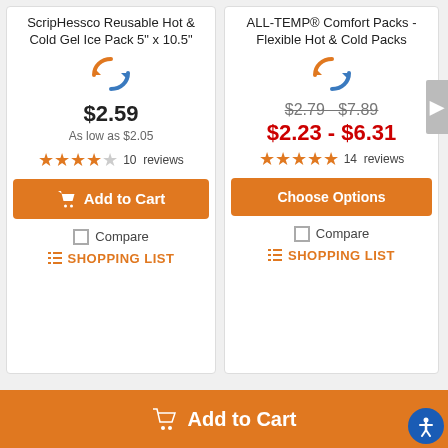ScripHessco Reusable Hot & Cold Gel Ice Pack 5" x 10.5"
$2.59
As low as $2.05
10  reviews
Add to Cart
Compare
SHOPPING LIST
ALL-TEMP® Comfort Packs - Flexible Hot & Cold Packs
$2.79  $7.89
$2.23 - $6.31
14  reviews
Choose Options
Compare
SHOPPING LIST
Add to Cart